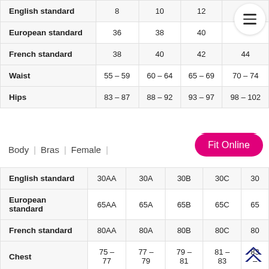|  | 8 | 10 | 12 | 14 | ... |
| --- | --- | --- | --- | --- | --- |
| English standard | 8 | 10 | 12 | 14 | ... |
| European standard | 36 | 38 | 40 | ... |
| French standard | 38 | 40 | 42 | 44 |
| Waist | 55 - 59 | 60 - 64 | 65 - 69 | 70 - 74 | 7... |
| Hips | 83 - 87 | 88 - 92 | 93 - 97 | 98 - 102 | 10... |
Body | Bras | Female |
|  | 30AA | 30A | 30B | 30C | 30... |
| --- | --- | --- | --- | --- | --- |
| English standard | 30AA | 30A | 30B | 30C | 30 |
| European standard | 65AA | 65A | 65B | 65C | 65 |
| French standard | 80AA | 80A | 80B | 80C | 80 |
| Chest | 75 - 77 | 77 - 79 | 79 - 81 | 81 - 83 | 83 - |
| Under bust | 63 - 67 | 63 - 67 | 63 - 67 | 63 - 67 | 63 - |